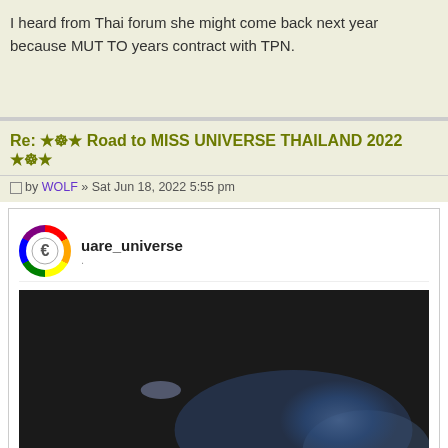I heard from Thai forum she might come back next year because MUT TO... years contract with TPN.
Re: ★☸★ Road to MISS UNIVERSE THAILAND 2022 ★☸★
by WOLF » Sat Jun 18, 2022 5:55 pm
uare_universe
[Figure (photo): Dark atmospheric image, mostly black/dark grey with some blue cloud-like elements in lower right corner and a faint glowing spot near center-left]